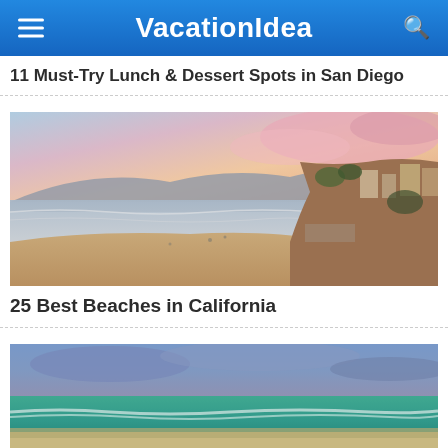VacationIdea
11 Must-Try Lunch & Dessert Spots in San Diego
[Figure (photo): Aerial coastal sunset photo showing a California beach with pink and orange sky, rocky cliffs with buildings, sandy beach, and gentle ocean waves]
25 Best Beaches in California
[Figure (photo): Wide-angle photo of a California beach showing turquoise-green ocean water, white surf, sandy beach, and overcast blue-grey sky]